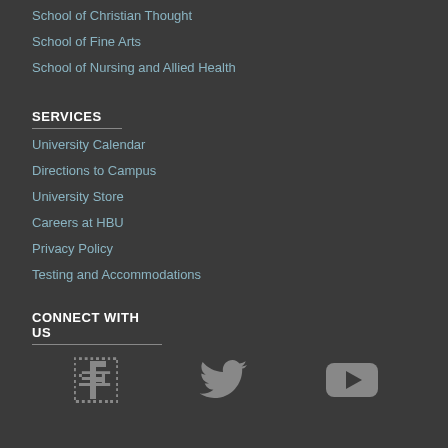School of Christian Thought
School of Fine Arts
School of Nursing and Allied Health
SERVICES
University Calendar
Directions to Campus
University Store
Careers at HBU
Privacy Policy
Testing and Accommodations
CONNECT WITH US
[Figure (infographic): Social media icons: Facebook, Twitter, YouTube]